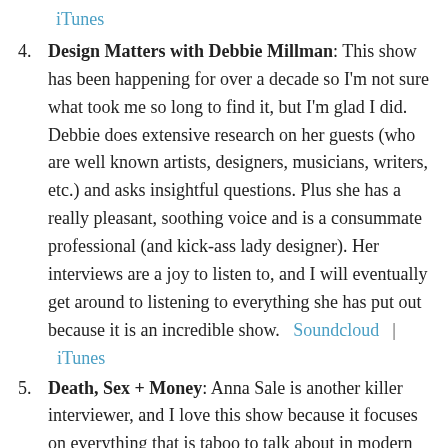iTunes
Design Matters with Debbie Millman: This show has been happening for over a decade so I'm not sure what took me so long to find it, but I'm glad I did. Debbie does extensive research on her guests (who are well known artists, designers, musicians, writers, etc.) and asks insightful questions. Plus she has a really pleasant, soothing voice and is a consummate professional (and kick-ass lady designer). Her interviews are a joy to listen to, and I will eventually get around to listening to everything she has put out because it is an incredible show.  Soundcloud  |  iTunes
Death, Sex + Money: Anna Sale is another killer interviewer, and I love this show because it focuses on everything that is taboo to talk about in modern society. She has such a warm and